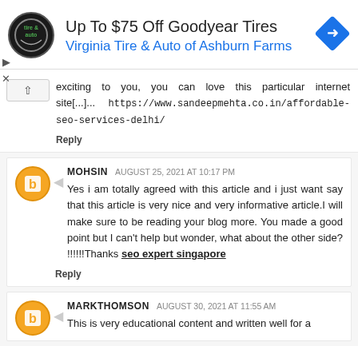[Figure (infographic): Advertisement banner: logo circle for Virginia Tire & Auto, text 'Up To $75 Off Goodyear Tires' and 'Virginia Tire & Auto of Ashburn Farms', blue diamond navigation icon on right, play/close ad controls on left]
exciting to you, you can love this particular internet site[...]...  https://www.sandeepmehta.co.in/affordable-seo-services-delhi/
Reply
MOHSIN  AUGUST 25, 2021 AT 10:17 PM
Yes i am totally agreed with this article and i just want say that this article is very nice and very informative article.I will make sure to be reading your blog more. You made a good point but I can't help but wonder, what about the other side? !!!!!!Thanks seo expert singapore
Reply
MARKTHOMSON  AUGUST 30, 2021 AT 11:55 AM
This is very educational content and written well for a
Reply